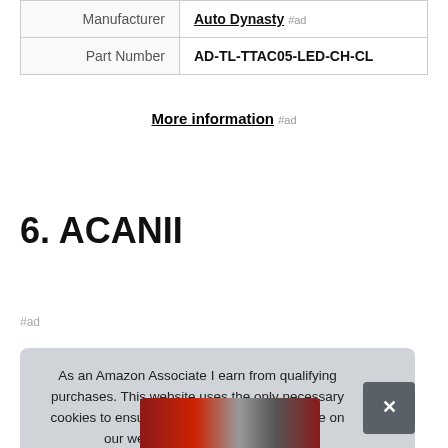|  |  |
| --- | --- |
| Manufacturer | Auto Dynasty #ad |
| Part Number | AD-TL-TTAC05-LED-CH-CL |
More information #ad
6. ACANII
#ad
As an Amazon Associate I earn from qualifying purchases. This website uses the only necessary cookies to ensure you get the best experience on our website. More information